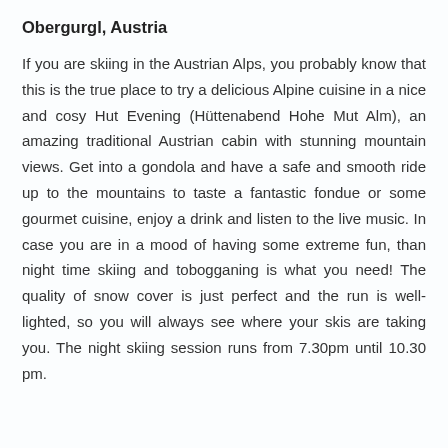Obergurgl, Austria
If you are skiing in the Austrian Alps, you probably know that this is the true place to try a delicious Alpine cuisine in a nice and cosy Hut Evening (Hüttenabend Hohe Mut Alm), an amazing traditional Austrian cabin with stunning mountain views. Get into a gondola and have a safe and smooth ride up to the mountains to taste a fantastic fondue or some gourmet cuisine, enjoy a drink and listen to the live music. In case you are in a mood of having some extreme fun, than night time skiing and tobogganing is what you need! The quality of snow cover is just perfect and the run is well-lighted, so you will always see where your skis are taking you. The night skiing session runs from 7.30pm until 10.30 pm.